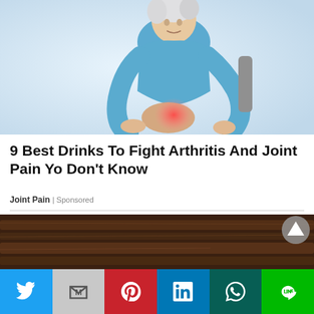[Figure (photo): Older woman with short white hair wearing a blue long-sleeve shirt, bending over and holding her foot/knee which has a red glow indicating pain or inflammation. Light blue/white background.]
9 Best Drinks To Fight Arthritis And Joint Pain Yo Don't Know
Joint Pain | Sponsored
[Figure (photo): Dark wooden ceiling beams/rafters photographed from below, dark brown tones. A circular scroll-to-top button with a white triangle arrow is visible in the upper right.]
[Figure (infographic): Social media share bar with six buttons: Twitter (blue), Gmail (gray with M), Pinterest (red), LinkedIn (blue), WhatsApp (dark teal), and LINE (green).]